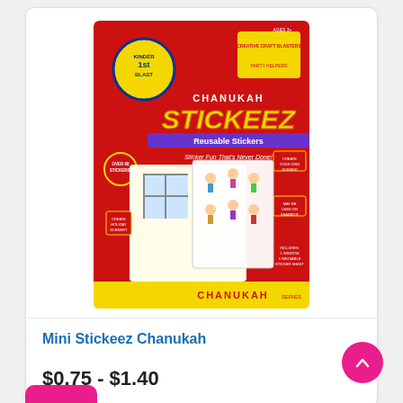[Figure (photo): Product packaging for Kinder Blast Chanukah Stickeez Reusable Stickers. Red box with yellow 'Stickeez' title, purple 'Reusable Stickers' banner, cartoon children and Chanukah-themed sticker sheet visible.]
Mini Stickeez Chanukah
$0.75 - $1.40